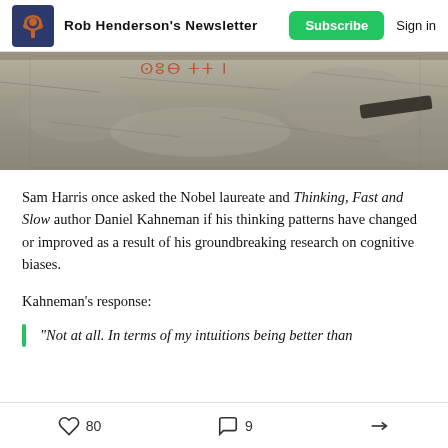Rob Henderson's Newsletter | Subscribe | Sign in
[Figure (photo): Close-up photo of a rock face or wall with ancient reddish painted markings/inscriptions visible at the top, and a dark tool or object resting on the stone surface at the right.]
Sam Harris once asked the Nobel laureate and Thinking, Fast and Slow author Daniel Kahneman if his thinking patterns have changed or improved as a result of his groundbreaking research on cognitive biases.
Kahneman’s response:
“Not at all. In terms of my intuitions being better than
80 likes  9 comments  share